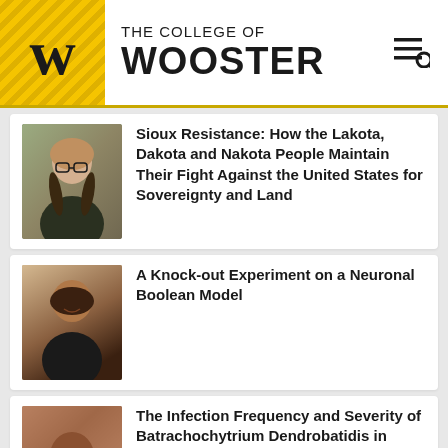THE COLLEGE OF WOOSTER
Sioux Resistance: How the Lakota, Dakota and Nakota People Maintain Their Fight Against the United States for Sovereignty and Land
A Knock-out Experiment on a Neuronal Boolean Model
The Infection Frequency and Severity of Batrachochytrium Dendrobatidis in Northern Two-